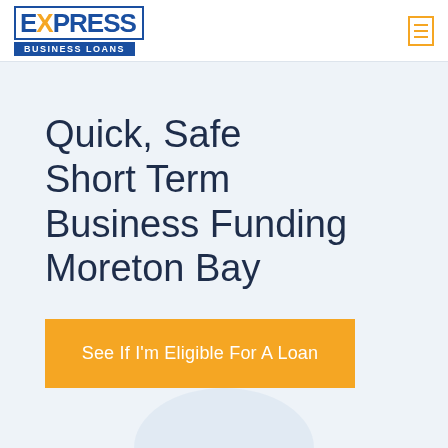EXPRESS BUSINESS LOANS
Quick, Safe Short Term Business Funding Moreton Bay
See If I'm Eligible For A Loan